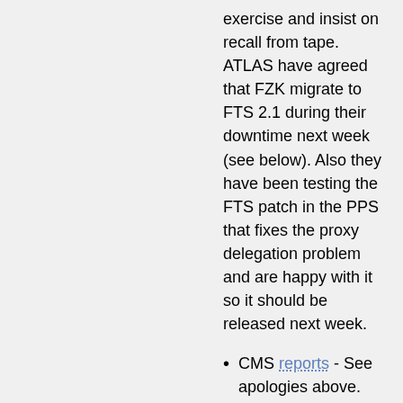exercise and insist on recall from tape. ATLAS have agreed that FZK migrate to FTS 2.1 during their downtime next week (see below). Also they have been testing the FTS patch in the PPS that fixes the proxy delegation problem and are happy with it so it should be released next week.
CMS reports - See apologies above.
ALICE -
LHCb - FEST09 is now running with transfers and reconstruction jobs at T1.
LHCb had yesterday a severe problem uploading data to the